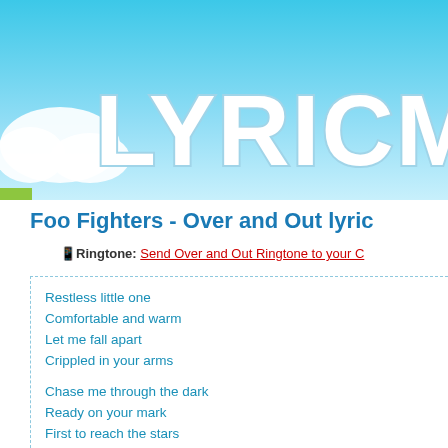[Figure (logo): LYRICMAN website logo with large white bubble letters on sky-blue gradient background with clouds]
Foo Fighters - Over and Out lyric
📱 Ringtone: Send Over and Out Ringtone to your C...
Restless little one
Comfortable and warm
Let me fall apart
Crippled in your arms

Chase me through the dark
Ready on your mark
First to reach the stars
Wins a broken heart
One that broke apart
Shattered from the start

Are you there?
Do you read me?
Are you there?
I don't feel you anymore

Cages and alarms
Keeping us from harm